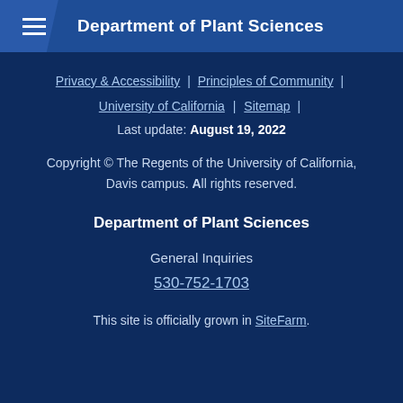Department of Plant Sciences
Privacy & Accessibility | Principles of Community | University of California | Sitemap |
Last update: August 19, 2022
Copyright © The Regents of the University of California, Davis campus. All rights reserved.
Department of Plant Sciences
General Inquiries
530-752-1703
This site is officially grown in SiteFarm.